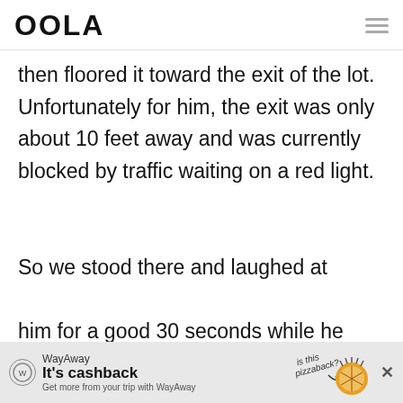OOLA
then floored it toward the exit of the lot. Unfortunately for him, the exit was only about 10 feet away and was currently blocked by traffic waiting on a red light.

So we stood there and laughed at him for a good 30 seconds while he
WayAway — It's cashback — Get more from your trip with WayAway